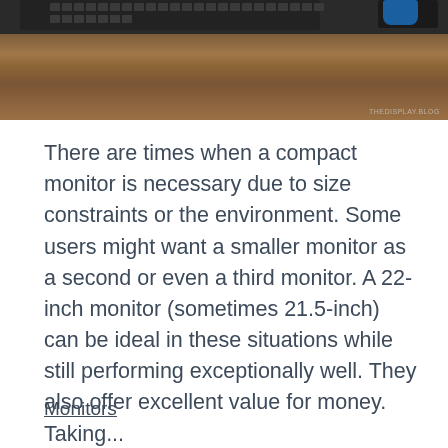[Figure (photo): Photo of a computer desk setup showing a dark keyboard, blue mouse, and mousepad on a wooden desk surface. Watermark reads THEDISPLAY.BLOG.]
There are times when a compact monitor is necessary due to size constraints or the environment. Some users might want a smaller monitor as a second or even a third monitor. A 22-inch monitor (sometimes 21.5-inch) can be ideal in these situations while still performing exceptionally well. They also offer excellent value for money. Taking...
Monitors